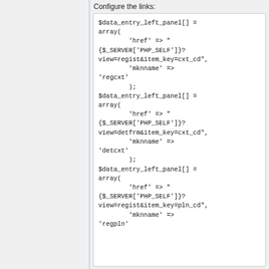Configure the links:
$data_entry_left_panel[] = array(
        'href' => "{$_SERVER['PHP_SELF']}?view=regist&item_key=cxt_cd",
        'mknname' => 'regcxt'
        );
$data_entry_left_panel[] = array(
        'href' => "{$_SERVER['PHP_SELF']}?view=detfrm&item_key=cxt_cd",
        'mknname' => 'detcxt'
        );
$data_entry_left_panel[] = array(
        'href' => "{$_SERVER['PHP_SELF']}?view=regist&item_key=pln_cd",
        'mknname' => 'regpln'